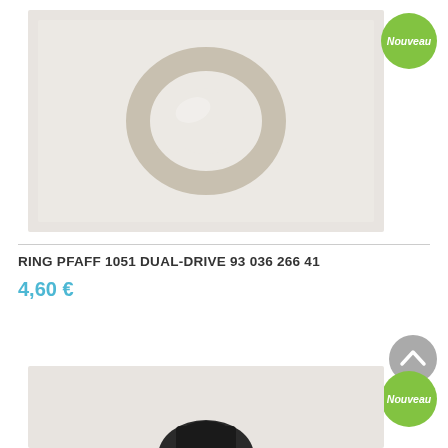[Figure (photo): Product photo of a flat metal washer/ring (PFAFF 1051 Dual-Drive part) on a light gray background]
[Figure (illustration): Green rounded badge with white italic text 'Nouveau' (top right)]
RING PFAFF 1051 DUAL-DRIVE 93 036 266 41
4,60 €
[Figure (illustration): Gray circular back-to-top button with white chevron arrow, bottom right]
[Figure (illustration): Green rounded badge with white italic text 'Nouveau' (bottom right)]
[Figure (photo): Partial product photo at bottom of page showing a dark-colored sewing machine part on light gray background]